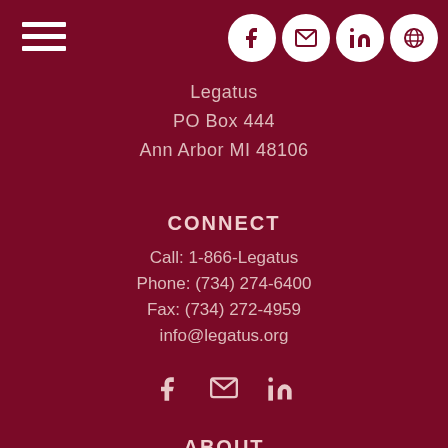[Figure (other): Hamburger menu icon (three white horizontal lines) in the top left corner]
[Figure (other): Four social media icons in white circles (Facebook, Email, LinkedIn, and a globe/search icon) in the top right corner]
Legatus
PO Box 444
Ann Arbor MI 48106
CONNECT
Call: 1-866-Legatus
Phone: (734) 274-6400
Fax: (734) 272-4959
info@legatus.org
[Figure (other): Three social media icons (Facebook, Email, LinkedIn) without circles]
ABOUT
About Legatus